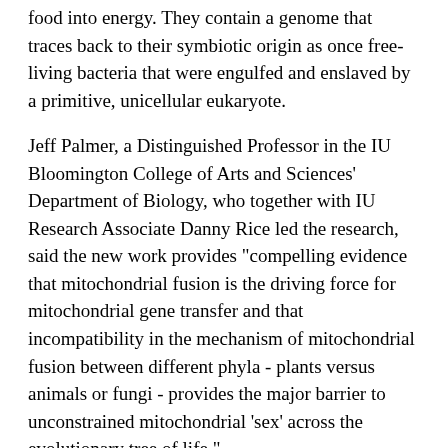food into energy. They contain a genome that traces back to their symbiotic origin as once free-living bacteria that were engulfed and enslaved by a primitive, unicellular eukaryote.
Jeff Palmer, a Distinguished Professor in the IU Bloomington College of Arts and Sciences' Department of Biology, who together with IU Research Associate Danny Rice led the research, said the new work provides "compelling evidence that mitochondrial fusion is the driving force for mitochondrial gene transfer and that incompatibility in the mechanism of mitochondrial fusion between different phyla - plants versus animals or fungi - provides the major barrier to unconstrained mitochondrial 'sex' across the evolutionary tree of life."
"The Amborella mitochondrial genome is like the old lady in the song who swallows a fly, and then a spider, a bird, a cat, and so on, all the way to a horse, at which point, finally,